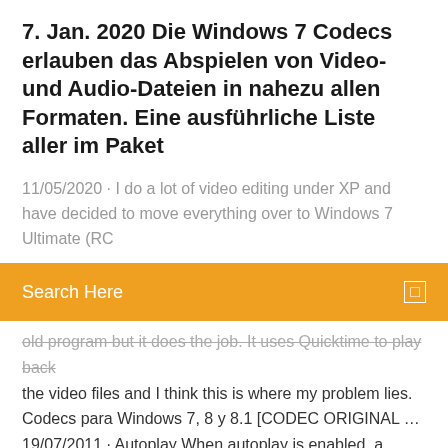7. Jan. 2020 Die Windows 7 Codecs erlauben das Abspielen von Video- und Audio-Dateien in nahezu allen Formaten. Eine ausführliche Liste aller im Paket
11/05/2020 · I do a lot of video editing under XP and have decided to move everything over to Windows 7 Ultimate (RC
[Figure (infographic): Orange search bar with text 'Search Here' and a small square icon on the right]
old program but it does the job. It uses Quicktime to play back the video files and I think this is where my problem lies. Codecs para Windows 7, 8 y 8.1 [CODEC ORIGINAL … 19/07/2011 · Autoplay When autoplay is enabled, a suggested video will automatically play next. Up next Hacer que el Reproductor de Windows 7 Acepte Todos los Formatos de Video (Funciona 2019) - … Codec Installation Package for Windows Media … Note: If you do not have Windows Media Player 9 Series or later installed and cannot play content by using the Windows Media Video 9 or Windows Media Audio 9 Voice codecs from a Player